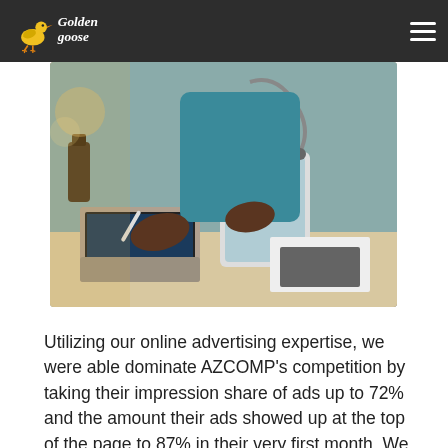Golden Goose
[Figure (photo): A healthcare professional wearing a stethoscope and teal scrubs, using a tablet while working at a desk with a laptop and documents.]
Utilizing our online advertising expertise, we were able dominate AZCOMP's competition by taking their impression share of ads up to 72% and the amount their ads showed up at the top of the page to 87% in their very first month. We also outranked their competitors ads by 71%. Not only were we able to crush AZCOMP's competitors in the ad space…